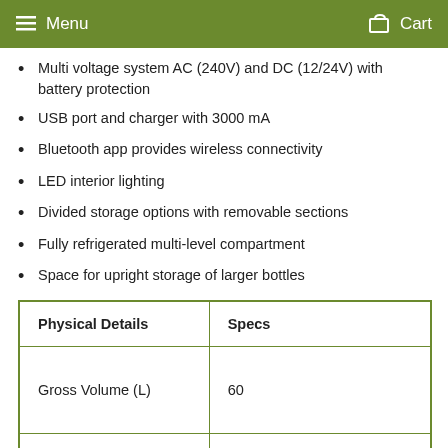Menu   Cart
Multi voltage system AC (240V) and DC (12/24V) with battery protection
USB port and charger with 3000 mA
Bluetooth app provides wireless connectivity
LED interior lighting
Divided storage options with removable sections
Fully refrigerated multi-level compartment
Space for upright storage of larger bottles
| Physical Details | Specs |
| --- | --- |
| Gross Volume (L) | 60 |
| Fridge Dimensions (mm) | L 732 x W 456 x H 488 |